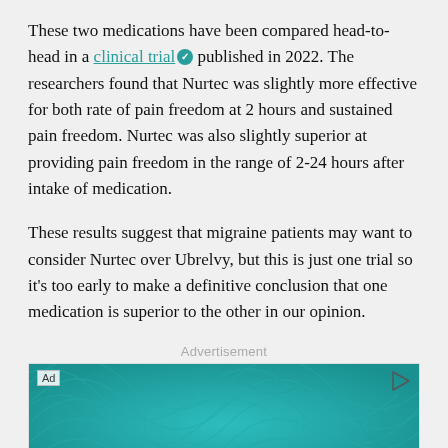These two medications have been compared head-to-head in a clinical trial published in 2022. The researchers found that Nurtec was slightly more effective for both rate of pain freedom at 2 hours and sustained pain freedom. Nurtec was also slightly superior at providing pain freedom in the range of 2-24 hours after intake of medication.
These results suggest that migraine patients may want to consider Nurtec over Ubrelvy, but this is just one trial so it's too early to make a definitive conclusion that one medication is superior to the other in our opinion.
Advertisement
[Figure (illustration): Advertisement banner with teal/turquoise swirling pattern background. Shows 'Ad' label in top left, a triangular play/info icon in top right, and text 'Empower health' in white at the bottom center.]